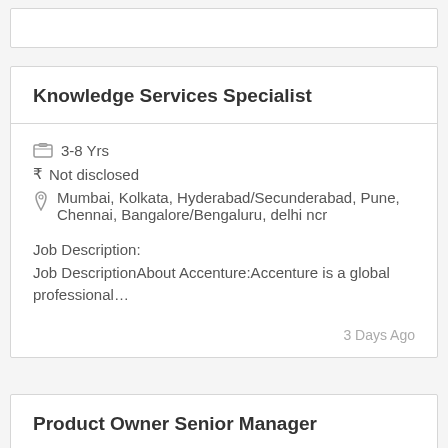Knowledge Services Specialist
3-8 Yrs
₹ Not disclosed
Mumbai, Kolkata, Hyderabad/Secunderabad, Pune, Chennai, Bangalore/Bengaluru, delhi ncr
Job Description:
Job DescriptionAbout Accenture:Accenture is a global professional…
3 Days Ago
Product Owner Senior Manager